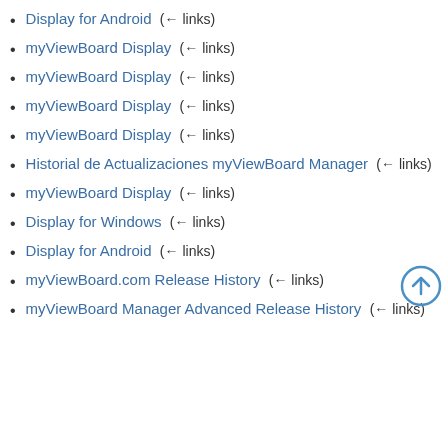Display for Android  (← links)
myViewBoard Display  (← links)
myViewBoard Display  (← links)
myViewBoard Display  (← links)
myViewBoard Display  (← links)
Historial de Actualizaciones myViewBoard Manager  (← links)
myViewBoard Display  (← links)
Display for Windows  (← links)
Display for Android  (← links)
myViewBoard.com Release History  (← links)
myViewBoard Manager Advanced Release History  (← links)